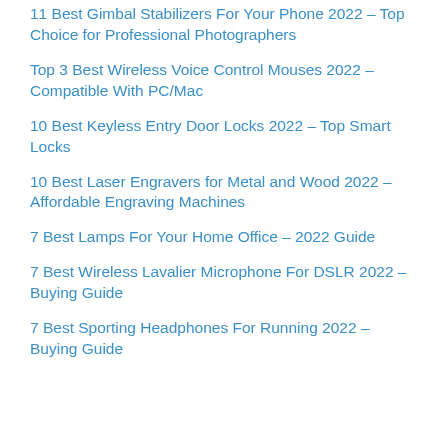11 Best Gimbal Stabilizers For Your Phone 2022 – Top Choice for Professional Photographers
Top 3 Best Wireless Voice Control Mouses 2022 – Compatible With PC/Mac
10 Best Keyless Entry Door Locks 2022 – Top Smart Locks
10 Best Laser Engravers for Metal and Wood 2022 – Affordable Engraving Machines
7 Best Lamps For Your Home Office – 2022 Guide
7 Best Wireless Lavalier Microphone For DSLR 2022 – Buying Guide
7 Best Sporting Headphones For Running 2022 – Buying Guide